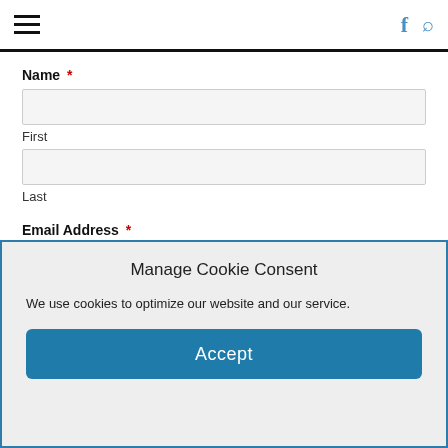Navigation header with hamburger menu, Facebook icon, and search icon
Name *
First
Last
Email Address *
Manage Cookie Consent
We use cookies to optimize our website and our service.
Accept